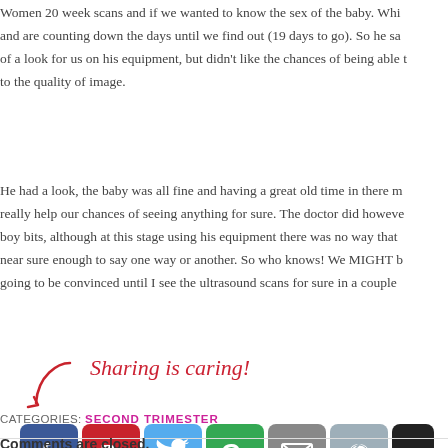Our doctor also asked us today about our next appointment with the Queen Women 20 week scans and if we wanted to know the sex of the baby. Which and are counting down the days until we find out (19 days to go). So he sa of a look for us on his equipment, but didn't like the chances of being able t to the quality of image.
He had a look, the baby was all fine and having a great old time in there m really help our chances of seeing anything for sure. The doctor did however boy bits, although at this stage using his equipment there was no way that near sure enough to say one way or another. So who knows! We MIGHT b going to be convinced until I see the ultrasound scans for sure in a couple
[Figure (infographic): Sharing is caring! section with social media icons: Facebook, Pinterest, Twitter, Google+, Email, Reddit, Digg]
CATEGORIES: SECOND TRIMESTER
Comments are closed.